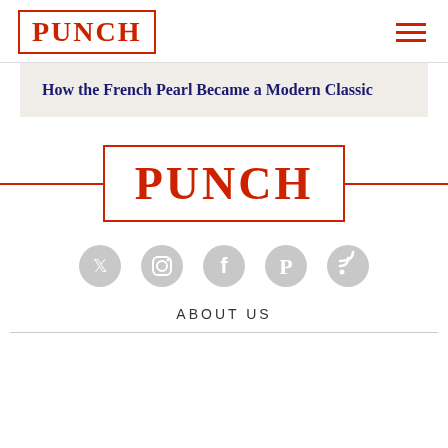PUNCH
How the French Pearl Became a Modern Classic
[Figure (logo): PUNCH logo centered with red border, flanked by horizontal red lines]
[Figure (infographic): Row of five circular social media icons: Twitter, Instagram, Facebook, Pinterest, RSS — all in light gray]
ABOUT US